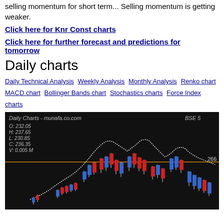Selling momentum for short term... Selling momentum is getting weaker.
Click here for Knr Const charts
Click here for further forecast and predictions for tomorrow
Daily charts
Daily Technical Analysis  Weekly Analysis  Monthly Analysis  Renko chart  MACD chart  Bollinger Bands chart  Stochastics charts  Force Index charts
[Figure (screenshot): Daily candlestick chart from munafa.co.com showing BSE stock with red and blue candles, dotted moving average line, orange horizontal line at 266. OHLCV data: O:232.05, H:237.65, L:230.85, C:236.35, V:0.005 M]